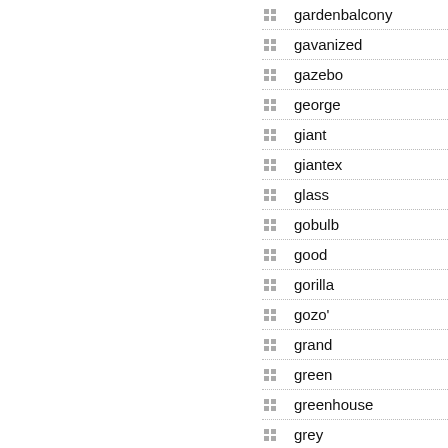gardenbalcony
gavanized
gazebo
george
giant
giantex
glass
gobulb
good
gorilla
gozo'
grand
green
greenhouse
grey